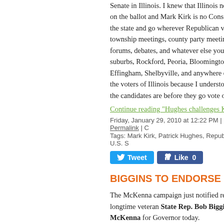Senate in Illinois. I knew that Illinois need on the ballot and Mark Kirk is no Conser the state and go wherever Republican vo township meetings, county party meeting forums, debates, and whatever else you suburbs, Rockford, Peoria, Bloomington, Effingham, Shelbyville, and anywhere els the voters of Illinois because I understood the candidates are before they go vote o
Continue reading "Hughes challenges Ki
Friday, January 29, 2010 at 12:22 PM | Permalink | C
Tags: Mark Kirk, Patrick Hughes, Republican, U.S. S
BIGGINS TO ENDORSE MCKE
The McKenna campaign just notified rep longtime veteran State Rep. Bob Biggi McKenna for Governor today.
"State Representative Bob Biggins' endo he represents a county where three of th gubernatorial candidates live," Trover wr